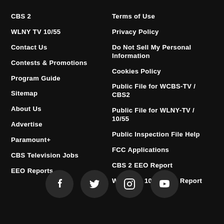CBS 2
WLNY TV 10/55
Contact Us
Contests & Promotions
Program Guide
Sitemap
About Us
Advertise
Paramount+
CBS Television Jobs
EEO Reports
Terms of Use
Privacy Policy
Do Not Sell My Personal Information
Cookies Policy
Public File for WCBS-TV / CBS2
Public File for WLNY-TV / 10/55
Public Inspection File Help
FCC Applications
CBS 2 EEO Report
WLNY TV 10/55 EEO Report
[Figure (infographic): Social media icons row: Facebook, Twitter, Instagram, YouTube — each in a dark circular button]